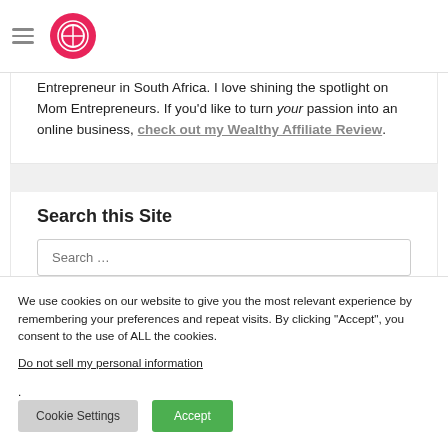Navigation bar with hamburger menu and logo
Entrepreneur in South Africa. I love shining the spotlight on Mom Entrepreneurs. If you'd like to turn your passion into an online business, check out my Wealthy Affiliate Review.
Search this Site
Search ...
We use cookies on our website to give you the most relevant experience by remembering your preferences and repeat visits. By clicking “Accept”, you consent to the use of ALL the cookies.
Do not sell my personal information.
Cookie Settings  Accept